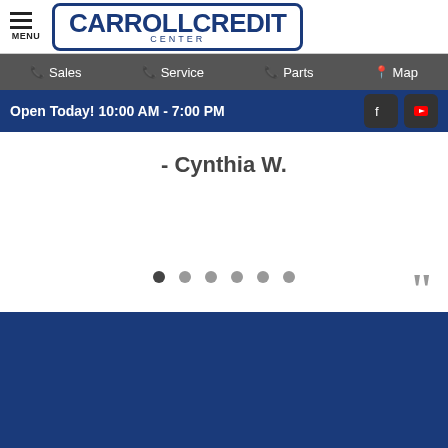CARROLL CREDIT CENTER
Sales | Service | Parts | Map
Open Today! 10:00 AM - 7:00 PM
- Cynthia W.
[Figure (other): Carousel navigation dots (6 dots, first active)]
[Figure (other): Large decorative closing quotation mark]